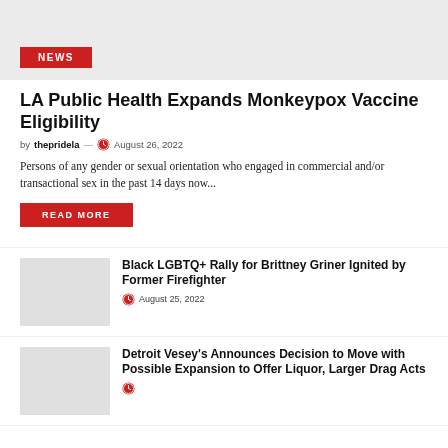[Figure (photo): Gray placeholder image with NEWS badge in red]
LA Public Health Expands Monkeypox Vaccine Eligibility
by thepridela — August 26, 2022
Persons of any gender or sexual orientation who engaged in commercial and/or transactional sex in the past 14 days now...
READ MORE
[Figure (photo): Gray placeholder thumbnail image]
Black LGBTQ+ Rally for Brittney Griner Ignited by Former Firefighter
August 25, 2022
[Figure (photo): Gray placeholder thumbnail image]
Detroit Vesey's Announces Decision to Move with Possible Expansion to Offer Liquor, Larger Drag Acts